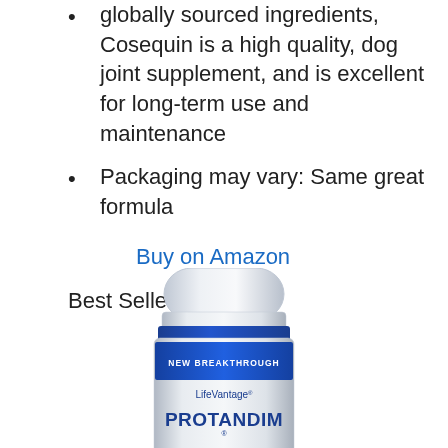globally sourced ingredients, Cosequin is a high quality, dog joint supplement, and is excellent for long-term use and maintenance
Packaging may vary: Same great formula
Buy on Amazon
Best Seller #8
[Figure (photo): LifeVantage Protandim supplement bottle with blue cap and silver label reading NEW BREAKTHROUGH, LifeVantage, PROTANDIM]